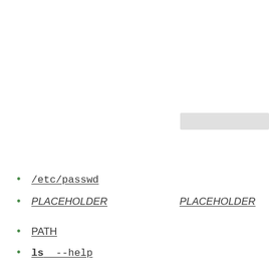/etc/passwd
PLACEHOLDER   PLACEHOLDER
PATH
ls --help